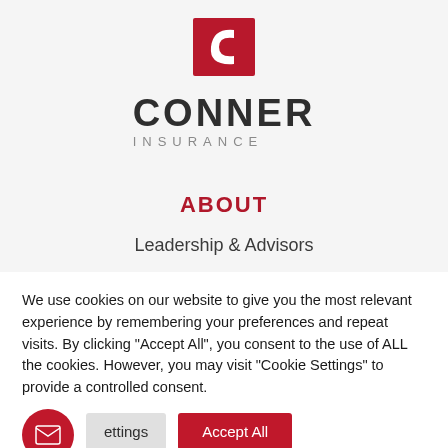[Figure (logo): Conner Insurance logo — red square with white C letterform, below it CONNER in bold dark letters and INSURANCE in grey spaced capitals]
ABOUT
Leadership & Advisors
We use cookies on our website to give you the most relevant experience by remembering your preferences and repeat visits. By clicking "Accept All", you consent to the use of ALL the cookies. However, you may visit "Cookie Settings" to provide a controlled consent.
Cookie Settings | Accept All